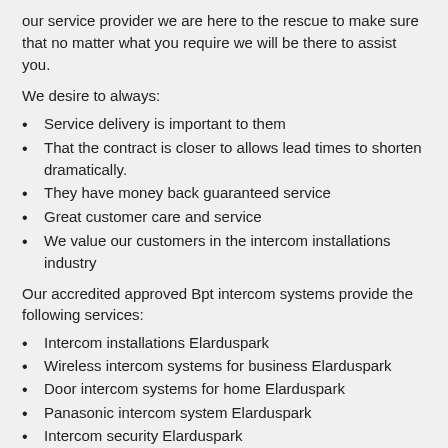our service provider we are here to the rescue to make sure that no matter what you require we will be there to assist you.
We desire to always:
Service delivery is important to them
That the contract is closer to allows lead times to shorten dramatically.
They have money back guaranteed service
Great customer care and service
We value our customers in the intercom installations industry
Our accredited approved Bpt intercom systems provide the following services:
Intercom installations Elarduspark
Wireless intercom systems for business Elarduspark
Door intercom systems for home Elarduspark
Panasonic intercom system Elarduspark
Intercom security Elarduspark
Bpt intercom systems Elarduspark
Intercom phone system Elarduspark
Kocom intercom Elarduspark
Ip intercom systems Elarduspark
Bpt intercom systems Elarduspark
Wireless gate intercom system Elarduspark
Security intercom systems Elarduspark
Intercom Elarduspark
School intercom systems Elarduspark